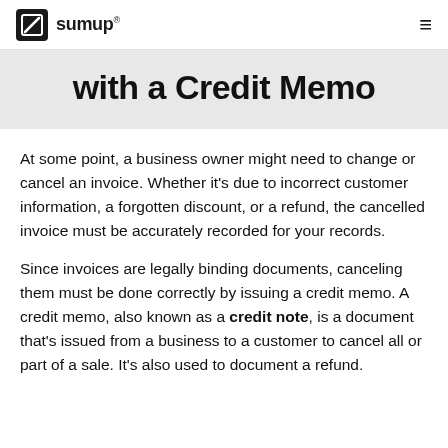sumup
with a Credit Memo
At some point, a business owner might need to change or cancel an invoice. Whether it's due to incorrect customer information, a forgotten discount, or a refund, the cancelled invoice must be accurately recorded for your records.
Since invoices are legally binding documents, canceling them must be done correctly by issuing a credit memo. A credit memo, also known as a credit note, is a document that's issued from a business to a customer to cancel all or part of a sale. It's also used to document a refund.